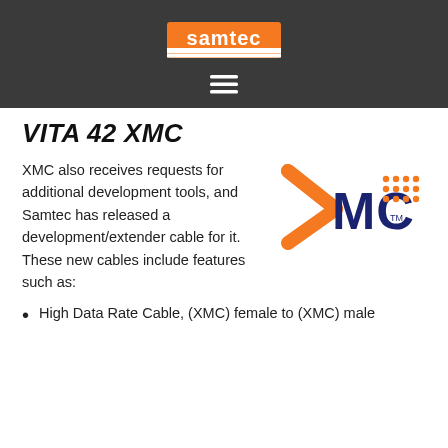samtec [logo]
VITA 42 XMC
XMC also receives requests for additional development tools, and Samtec has released a development/extender cable for it. These new cables include features such as:
[Figure (logo): XMC logo with orange and navy blue lettering and dot grid pattern]
High Data Rate Cable, (XMC) female to (XMC) male